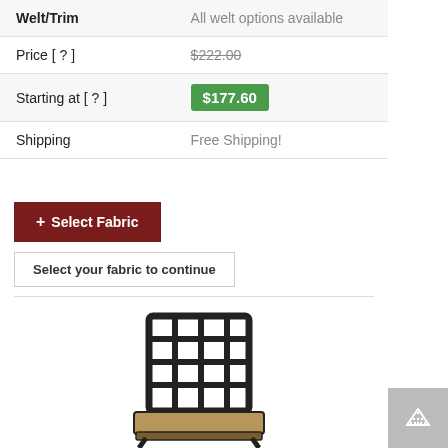| Label | Value |
| --- | --- |
| Welt/Trim | All welt options available |
| Price [ ? ] | $222.00 |
| Starting at [ ? ] | $177.60 |
| Shipping | Free Shipping! |
+ Select Fabric
Select your fabric to continue
[Figure (photo): Chair with dark grid-pattern metal back and tan/beige cushion seat, partial view from front-left angle]